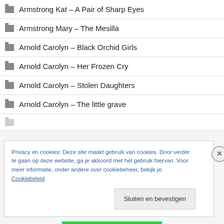Armstrong Kat – A Pair of Sharp Eyes
Armstrong Mary – The Mesilla
Arnold Carolyn – Black Orchid Girls
Arnold Carolyn – Her Frozen Cry
Arnold Carolyn – Stolen Daughters
Arnold Carolyn – The little grave
Privacy en cookies: Deze site maakt gebruik van cookies. Door verder te gaan op deze website, ga je akkoord met het gebruik hiervan. Voor meer informatie, onder andere over cookiebeheer, bekijk je: Cookiebeleid
Sluiten en bevestigen